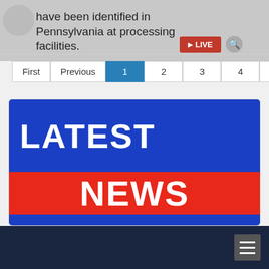have been identified in Pennsylvania at processing facilities.
First  Previous  1  2  3  4  5  Next  Last
[Figure (illustration): Latest News graphic with blue background showing 'LATEST' in large white text and red banner showing 'NEWS' in large white text]
Dark navy footer bar with hamburger menu icon